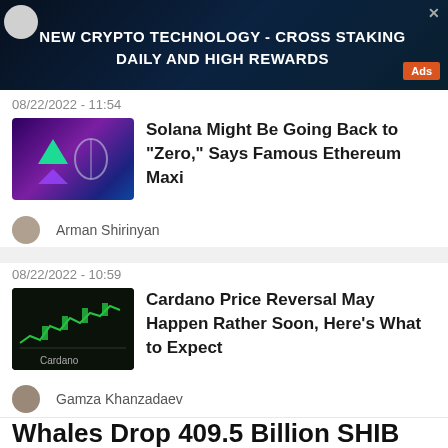[Figure (screenshot): Advertisement banner: NEW CRYPTO TECHNOLOGY - CROSS STAKING DAILY AND HIGH REWARDS with Ads badge]
08/22/2022 - 11:54
[Figure (photo): Thumbnail showing Solana and Ethereum logos on dark purple background]
Solana Might Be Going Back to "Zero," Says Famous Ethereum Maxi
Arman Shirinyan
08/22/2022 - 10:59
[Figure (photo): Thumbnail showing Cardano price chart with green candlesticks on dark background]
Cardano Price Reversal May Happen Rather Soon, Here's What to Expect
Gamza Khanzadaev
Whales Drop 409.5 Billion SHIB